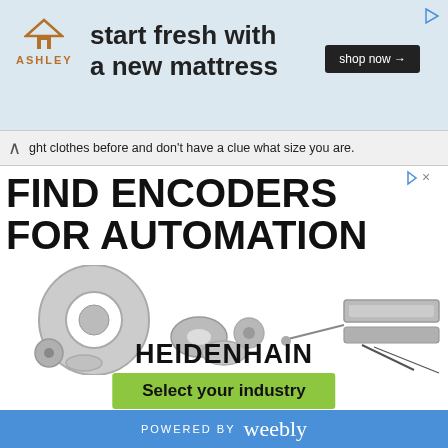[Figure (advertisement): Ashley Furniture banner ad with logo, tagline 'start fresh with a new mattress', and shop now button]
ght clothes before and don't have a clue what size you are.
[Figure (advertisement): Heidenhain encoder advertisement showing 'FIND ENCODERS FOR AUTOMATION' headline, photos of various rotary and linear encoders, brand name HEIDENHAIN, and green 'Select your industry' call-to-action button]
POWERED BY weebly